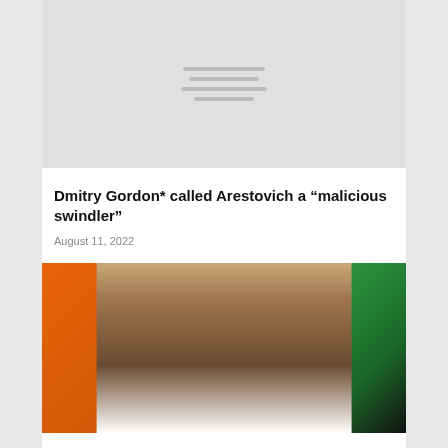[Figure (photo): Top placeholder image area with horizontal menu/loading lines centered on a light gray background]
Dmitry Gordon* called Arestovich a “malicious swindler”
August 11, 2022
[Figure (photo): Photo of a dark-skinned man speaking, gesturing with his hand, against a background of orange on the left and green on the right]